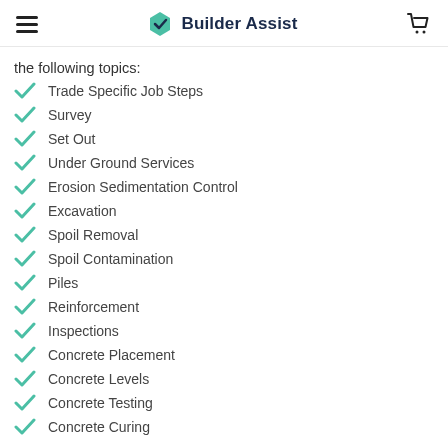Builder Assist
the following topics:
Trade Specific Job Steps
Survey
Set Out
Under Ground Services
Erosion Sedimentation Control
Excavation
Spoil Removal
Spoil Contamination
Piles
Reinforcement
Inspections
Concrete Placement
Concrete Levels
Concrete Testing
Concrete Curing